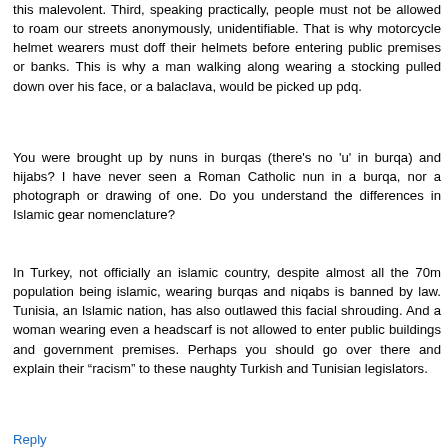this malevolent. Third, speaking practically, people must not be allowed to roam our streets anonymously, unidentifiable. That is why motorcycle helmet wearers must doff their helmets before entering public premises or banks. This is why a man walking along wearing a stocking pulled down over his face, or a balaclava, would be picked up pdq.
You were brought up by nuns in burqas (there's no 'u' in burqa) and hijabs? I have never seen a Roman Catholic nun in a burqa, nor a photograph or drawing of one. Do you understand the differences in Islamic gear nomenclature?
In Turkey, not officially an islamic country, despite almost all the 70m population being islamic, wearing burqas and niqabs is banned by law. Tunisia, an Islamic nation, has also outlawed this facial shrouding. And a woman wearing even a headscarf is not allowed to enter public buildings and government premises. Perhaps you should go over there and explain their “racism” to these naughty Turkish and Tunisian legislators.
Reply